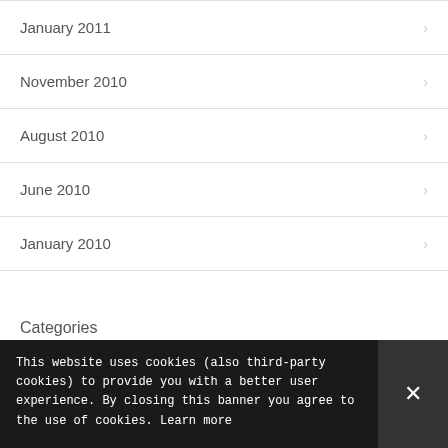January 2011
November 2010
August 2010
June 2010
January 2010
Categories
This website uses cookies to improve your experience. We'll
This website uses cookies (also third-party cookies) to provide you with a better user experience. By closing this banner you agree to the use of cookies. Learn more